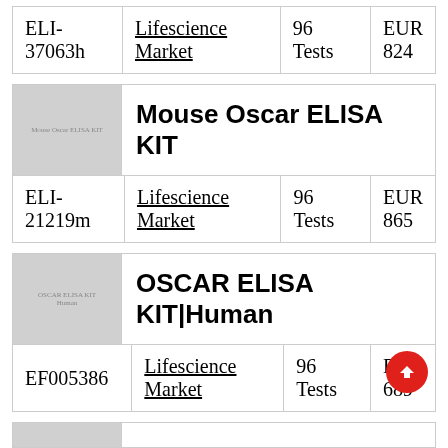| ID | Supplier | Size | Price |
| --- | --- | --- | --- |
| ELI-37063h | Lifescience Market | 96 Tests | EUR 824 |
[Figure (other): Product image placeholder for Mouse Oscar ELISA KIT]
Mouse Oscar ELISA KIT
| ID | Supplier | Size | Price |
| --- | --- | --- | --- |
| ELI-21219m | Lifescience Market | 96 Tests | EUR 865 |
[Figure (other): Product image placeholder for OSCAR ELISA KIT|Human]
OSCAR ELISA KIT|Human
| ID | Supplier | Size | Price |
| --- | --- | --- | --- |
| EF005386 | Lifescience Market | 96 Tests | EUR 689 |